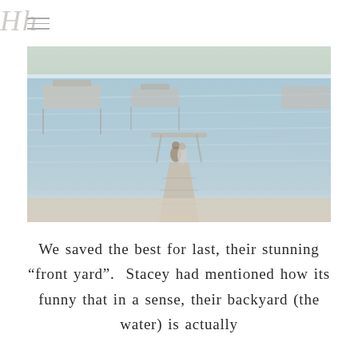Hh
[Figure (photo): A couple standing on a wooden dock extending into a calm lake, with boat lifts and docks visible in the background, trees along the far shore, photographed in warm natural light.]
We saved the best for last, their stunning “front yard”. Stacey had mentioned how its funny that in a sense, their backyard (the water) is actually